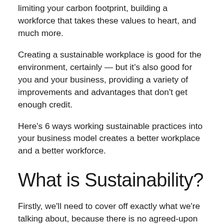limiting your carbon footprint, building a workforce that takes these values to heart, and much more.
Creating a sustainable workplace is good for the environment, certainly — but it's also good for you and your business, providing a variety of improvements and advantages that don't get enough credit.
Here's 6 ways working sustainable practices into your business model creates a better workplace and a better workforce.
What is Sustainability?
Firstly, we'll need to cover off exactly what we're talking about, because there is no agreed-upon definition for sustainability, especially when its